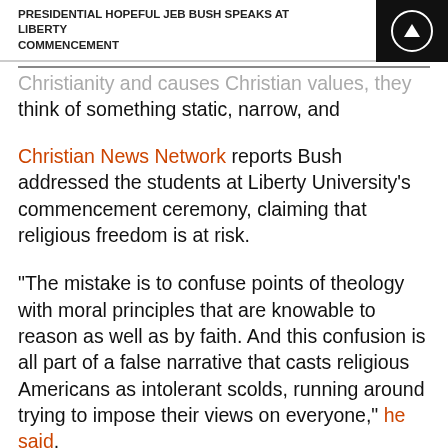PRESIDENTIAL HOPEFUL JEB BUSH SPEAKS AT LIBERTY COMMENCEMENT
Christianity and causes Christian values, they think of something static, narrow, and outdated."
Christian News Network reports Bush addressed the students at Liberty University's commencement ceremony, claiming that religious freedom is at risk.
"The mistake is to confuse points of theology with moral principles that are knowable to reason as well as by faith. And this confusion is all part of a false narrative that casts religious Americans as intolerant scolds, running around trying to impose their views on everyone," he said.
He added: “There is so much that we share in common, across all the lines of region, religion, and demography that are constantly being talked